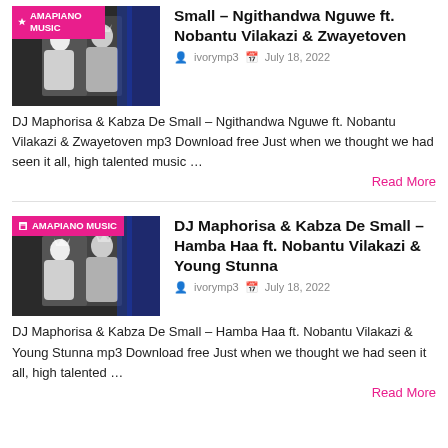[Figure (photo): Thumbnail image with pink AMAPIANO MUSIC badge, black and white photo of two artists]
Small – Ngithandwa Nguwe ft. Nobantu Vilakazi & Zwayetoven
ivorymp3   July 18, 2022
DJ Maphorisa & Kabza De Small – Ngithandwa Nguwe ft. Nobantu Vilakazi & Zwayetoven mp3 Download free Just when we thought we had seen it all, high talented music …
Read More
[Figure (photo): Thumbnail image with pink AMAPIANO MUSIC badge, black and white photo of two artists]
DJ Maphorisa & Kabza De Small – Hamba Haa ft. Nobantu Vilakazi & Young Stunna
ivorymp3   July 18, 2022
DJ Maphorisa & Kabza De Small – Hamba Haa ft. Nobantu Vilakazi & Young Stunna mp3 Download free Just when we thought we had seen it all, high talented …
Read More